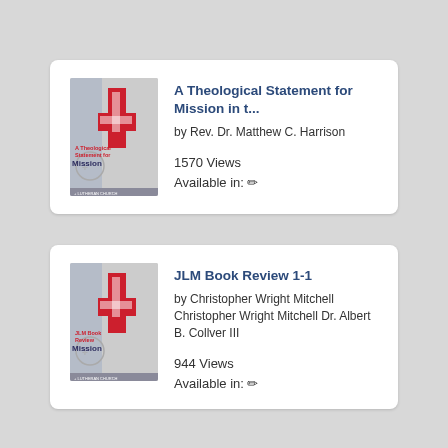[Figure (other): Book cover for A Theological Statement for Mission - gray and red cover with Mission text and cross design]
A Theological Statement for Mission in t...
by Rev. Dr. Matthew C. Harrison
1570 Views
Available in: ✏
[Figure (other): Book cover for JLM Book Review 1-1 - gray and red cover with Mission text and cross design]
JLM Book Review 1-1
by Christopher Wright Mitchell Christopher Wright Mitchell Dr. Albert B. Collver III
944 Views
Available in: ✏